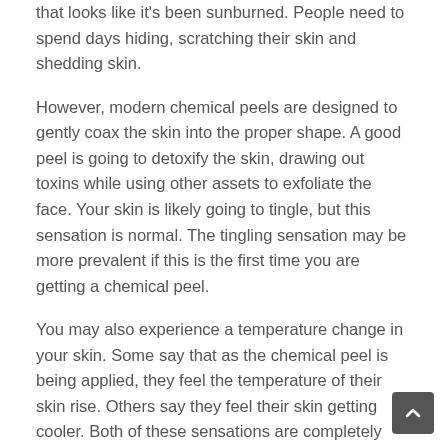that looks like it's been sunburned. People need to spend days hiding, scratching their skin and shedding skin.
However, modern chemical peels are designed to gently coax the skin into the proper shape. A good peel is going to detoxify the skin, drawing out toxins while using other assets to exfoliate the face. Your skin is likely going to tingle, but this sensation is normal. The tingling sensation may be more prevalent if this is the first time you are getting a chemical peel.
You may also experience a temperature change in your skin. Some say that as the chemical peel is being applied, they feel the temperature of their skin rise. Others say they feel their skin getting cooler. Both of these sensations are completely